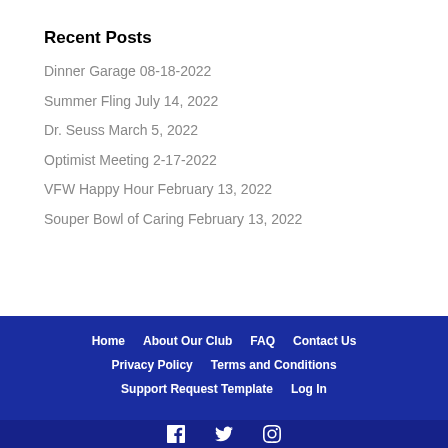Recent Posts
Dinner Garage 08-18-2022
Summer Fling July 14, 2022
Dr. Seuss March 5, 2022
Optimist Meeting 2-17-2022
VFW Happy Hour February 13, 2022
Souper Bowl of Caring February 13, 2022
Home   About Our Club   FAQ   Contact Us   Privacy Policy   Terms and Conditions   Support Request Template   Log In